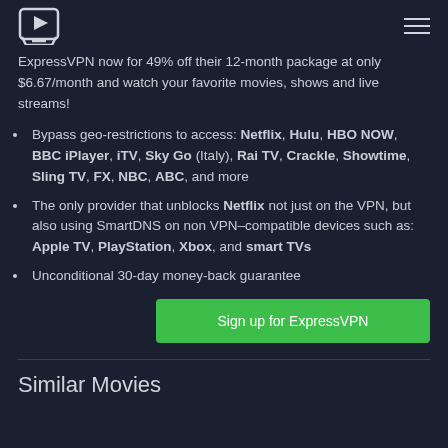[Logo] [Hamburger menu]
ExpressVPN now for 49% off their 12-month package at only $6.67/month and watch your favorite movies, shows and live streams!
Bypass geo-restrictions to access: Netflix, Hulu, HBO NOW, BBC iPlayer, iTV, Sky Go (Italy), Rai TV, Crackle, Showtime, Sling TV, FX, NBC, ABC, and more
The only provider that unblocks Netflix not just on the VPN, but also using SmartDNS on non VPN–compatible devices such as: Apple TV, PlayStation, Xbox, and smart TVs
Unconditional 30-day money-back guarantee
Sign up for ExpressVPN
Similar Movies